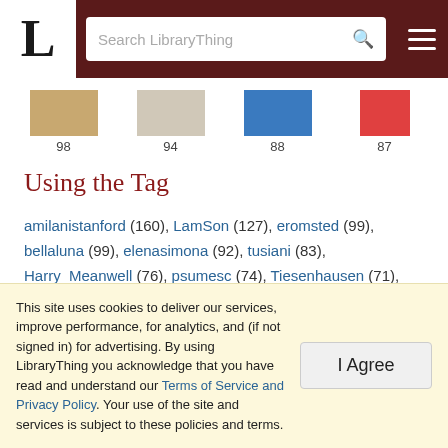LibraryThing - Search LibraryThing
[Figure (other): Four book covers with numbers 98, 94, 88, 87]
Using the Tag
amilanistanford (160), LamSon (127), eromsted (99), bellaluna (99), elenasimona (92), tusiani (83), Harry_Meanwell (76), psumesc (74), Tiesenhausen (71), mysterium (60), shokatlibrary (60), Rudolf (58), rolandperkins (57), Ogygia (56), LPMark (52), posterhouse (52), languagehat (52), Girkner (52), MiddleEastInstitute (51), SeriousGrace (51), emaestra (49) and 16,526 other members
This site uses cookies to deliver our services, improve performance, for analytics, and (if not signed in) for advertising. By using LibraryThing you acknowledge that you have read and understand our Terms of Service and Privacy Policy. Your use of the site and services is subject to these policies and terms.